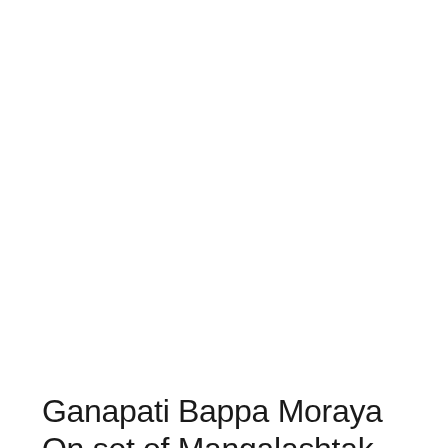News
Ganapati Bappa Moraya On set of Mangalashtak Once More